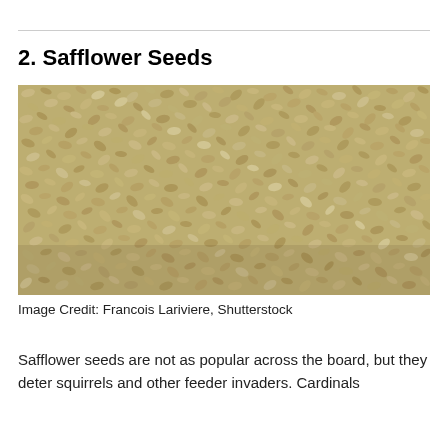2. Safflower Seeds
[Figure (photo): Close-up photograph of safflower seeds — small, pale cream/white oval seeds densely packed together filling the entire frame. Image Credit: Francois Lariviere, Shutterstock]
Image Credit: Francois Lariviere, Shutterstock
Safflower seeds are not as popular across the board, but they deter squirrels and other feeder invaders. Cardinals